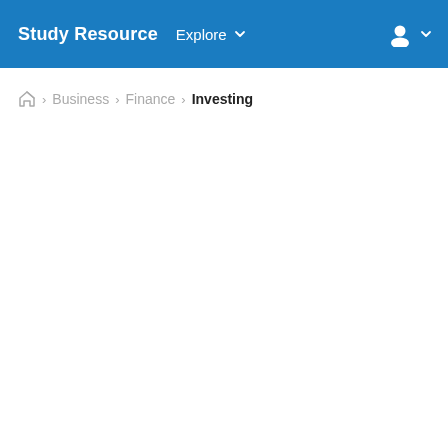Study Resource  Explore
Home > Business > Finance > Investing